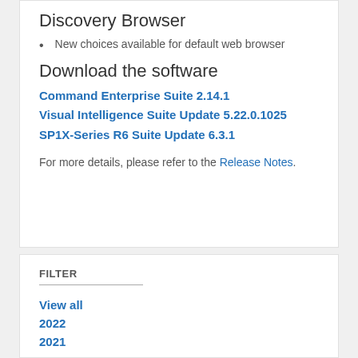Discovery Browser
New choices available for default web browser
Download the software
Command Enterprise Suite 2.14.1
Visual Intelligence Suite Update 5.22.0.1025
SP1X-Series R6 Suite Update 6.3.1
For more details, please refer to the Release Notes.
FILTER
View all
2022
2021